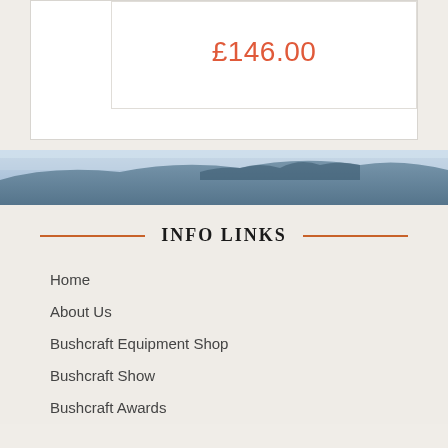£146.00
[Figure (photo): Outdoor/wilderness landscape banner image, blue-grey tones showing a hillside or mountain with misty sky]
INFO LINKS
Home
About Us
Bushcraft Equipment Shop
Bushcraft Show
Bushcraft Awards